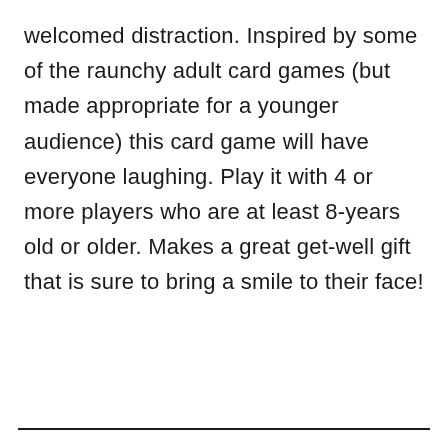welcomed distraction. Inspired by some of the raunchy adult card games (but made appropriate for a younger audience) this card game will have everyone laughing. Play it with 4 or more players who are at least 8-years old or older. Makes a great get-well gift that is sure to bring a smile to their face!